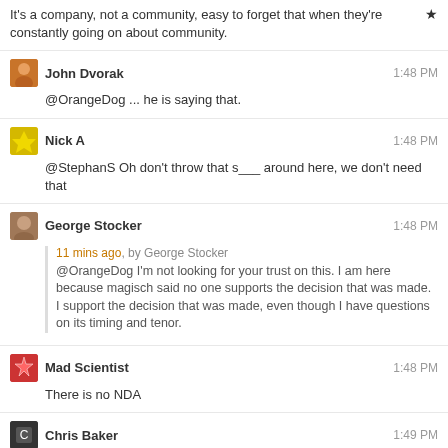It's a company, not a community, easy to forget that when they're constantly going on about community.
John Dvorak 1:48 PM @OrangeDog ... he is saying that.
Nick A 1:48 PM @StephanS Oh don't throw that s___ around here, we don't need that
George Stocker 1:48 PM [quote: 11 mins ago, by George Stocker: @OrangeDog I'm not looking for your trust on this. I am here because magisch said no one supports the decision that was made. I support the decision that was made, even though I have questions on its timing and tenor.]
Mad Scientist 1:48 PM There is no NDA
Chris Baker 1:49 PM If there is no NDA, then "I can't talk about it" is simply a false statement
Cerbrus 1:49 PM @GeorgeStocker "druthers"? Can you translate that to non-native-english-speak?
John Dvorak 1:49 PM @ChrisBaker not sure about that
George Stocker 1:49 PM